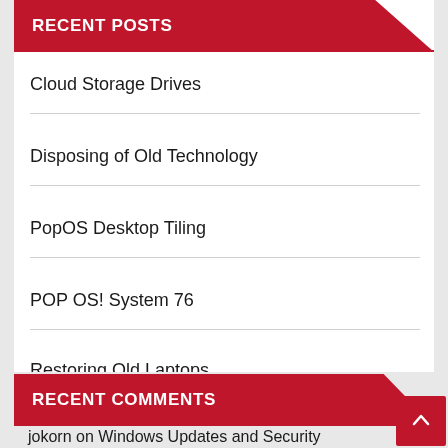RECENT POSTS
Cloud Storage Drives
Disposing of Old Technology
PopOS Desktop Tiling
POP OS! System 76
Restoring Old Laptops
RECENT COMMENTS
jokorn on Windows Updates and Security